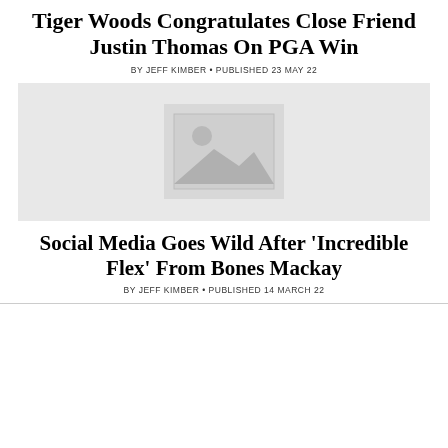Tiger Woods Congratulates Close Friend Justin Thomas On PGA Win
BY JEFF KIMBER • PUBLISHED 23 MAY 22
[Figure (photo): Placeholder image for article photo]
Social Media Goes Wild After 'Incredible Flex' From Bones Mackay
BY JEFF KIMBER • PUBLISHED 14 MARCH 22